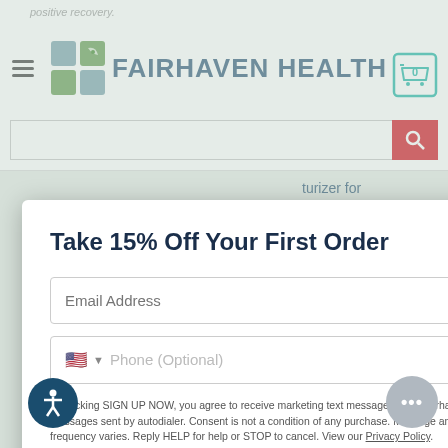FAIRHAVEN HEALTH
Take 15% Off Your First Order
Email Address
Phone (Optional)
By clicking SIGN UP NOW, you agree to receive marketing text messages from Fairhaven Health at the number provided, including messages sent by autodialer. Consent is not a condition of any purchase. Message and data rates may apply. U.S. users only. Message frequency varies. Reply HELP for help or STOP to cancel. View our Privacy Policy.
SIGN UP NOW